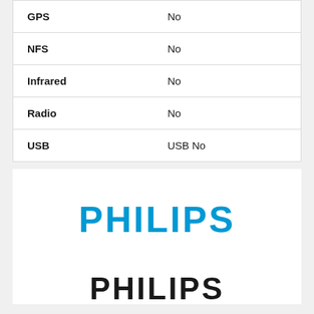| Feature | Value |
| --- | --- |
| GPS | No |
| NFS | No |
| Infrared | No |
| Radio | No |
| USB | USB No |
[Figure (logo): Philips logo in blue bold uppercase text]
[Figure (logo): Philips logo in black bold uppercase text (partially visible)]